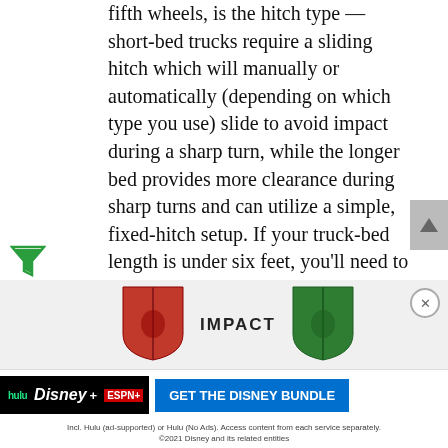fifth wheels, is the hitch type — short-bed trucks require a sliding hitch which will manually or automatically (depending on which type you use) slide to avoid impact during a sharp turn, while the longer bed provides more clearance during sharp turns and can utilize a simple, fixed-hitch setup. If your truck-bed length is under six feet, you'll need to purchase a sidewinder pin box setup as well as a fixed hitch. These Sidewinders and sliding hitches tend to be much more cost-prohibitive when compared to a standard fixed hitch that you can use on a long-bed truck. To find out if you'd be more comfortable with a longer bed, the best thing to do is take a test drive.
[Figure (infographic): Advertisement banner showing red and green shield icons with 'IMPACT' text between them, plus a Disney Bundle ad at the bottom with Hulu, Disney+, ESPN+ logos and a blue 'GET THE DISNEY BUNDLE' CTA button.]